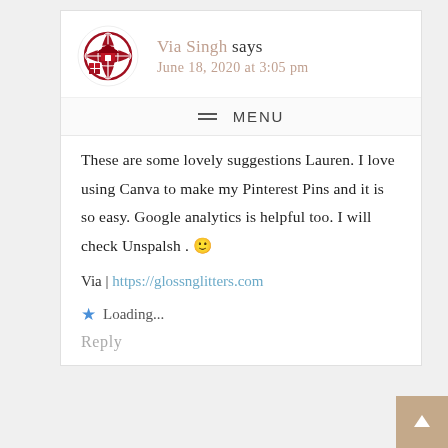[Figure (logo): Circular avatar logo with dark red/maroon house/globe icon on white background]
Via Singh says
June 18, 2020 at 3:05 pm
≡ MENU
These are some lovely suggestions Lauren. I love using Canva to make my Pinterest Pins and it is so easy. Google analytics is helpful too. I will check Unspalsh . 🙂
Via | https://glossnglitters.com
★ Loading...
Reply